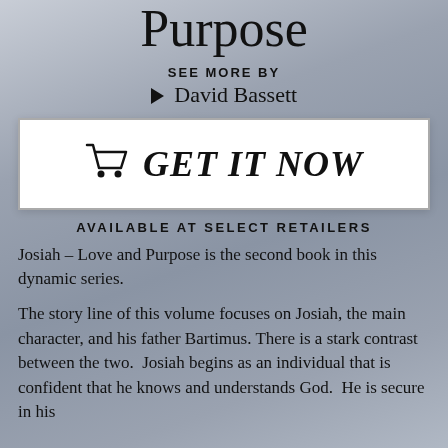Purpose
SEE MORE BY
▶ David Bassett
[Figure (other): GET IT NOW button with shopping cart icon inside a white bordered rectangle]
AVAILABLE AT SELECT RETAILERS
Josiah – Love and Purpose is the second book in this dynamic series.
The story line of this volume focuses on Josiah, the main character, and his father Bartimus. There is a stark contrast between the two.  Josiah begins as an individual that is confident that he knows and understands God.  He is secure in his